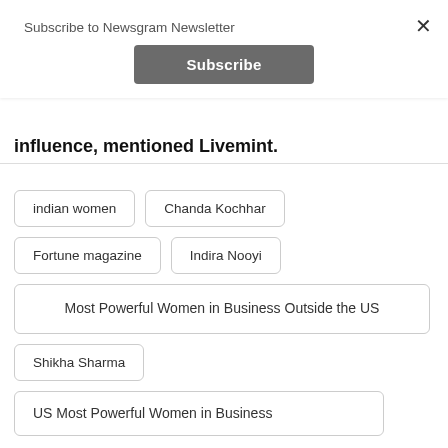Subscribe to Newsgram Newsletter
Subscribe
influence, mentioned Livemint.
indian women
Chanda Kochhar
Fortune magazine
Indira Nooyi
Most Powerful Women in Business Outside the US
Shikha Sharma
US Most Powerful Women in Business